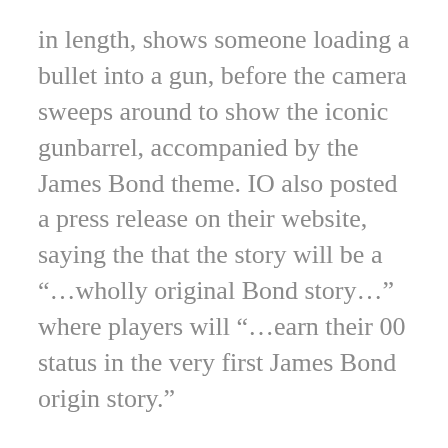in length, shows someone loading a bullet into a gun, before the camera sweeps around to show the iconic gunbarrel, accompanied by the James Bond theme. IO also posted a press release on their website, saying the that the story will be a “…wholly original Bond story…” where players will “…earn their 00 status in the very first James Bond origin story.”
While it is still early days, as a James Bond fan, I’m already hooked on a new game being on the horizon.